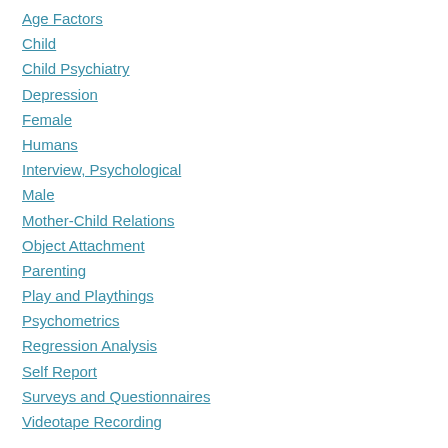Age Factors
Child
Child Psychiatry
Depression
Female
Humans
Interview, Psychological
Male
Mother-Child Relations
Object Attachment
Parenting
Play and Playthings
Psychometrics
Regression Analysis
Self Report
Surveys and Questionnaires
Videotape Recording
Pub Type(s)
Journal Article
Research Support, Non-U.S. Gov't
Language
eng
PubMed ID